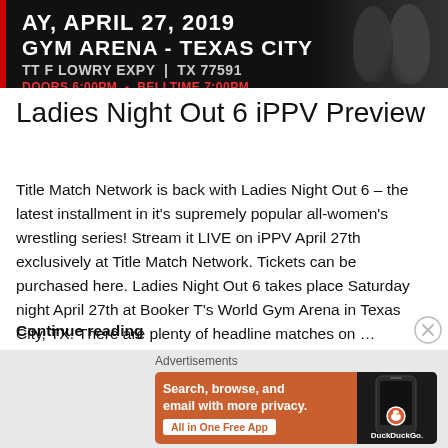[Figure (photo): Promotional banner for Ladies Night Out 6 event on Saturday April 27 2019 at Booker T's World Gym Arena - Texas City, 3405 TT F Lowry Expy TX 77591. Dark background with red accent bar. Text: AY, APRIL 27, 2019 / GYM ARENA - TEXAS CITY / TT F LOWRY EXPY | TX 77591 / DOORS 6:00PM - BELLTIME 7:00PM. Photo of women wrestlers on right side.]
Ladies Night Out 6 iPPV Preview
Title Match Network is back with Ladies Night Out 6 – the latest installment in it's supremely popular all-women's wrestling series! Stream it LIVE on iPPV April 27th exclusively at Title Match Network. Tickets can be purchased here. Ladies Night Out 6 takes place Saturday night April 27th at Booker T's World Gym Arena in Texas City, TX. There are plenty of headline matches on …
Continue reading
[Figure (screenshot): DuckDuckGo advertisement banner with orange background. Text: Search, browse, and email with more privacy. All in One Free App. Shows a mobile phone with DuckDuckGo logo and branding.]